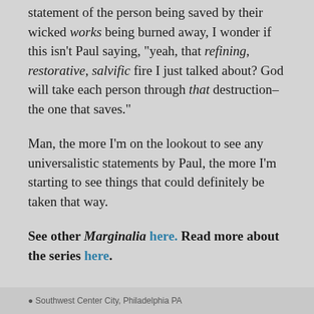statement of the person being saved by their wicked works being burned away, I wonder if this isn't Paul saying, "yeah, that refining, restorative, salvific fire I just talked about? God will take each person through that destruction–the one that saves."
Man, the more I'm on the lookout to see any universalistic statements by Paul, the more I'm starting to see things that could definitely be taken that way.
See other Marginalia here. Read more about the series here.
Southwest Center City, Philadelphia PA